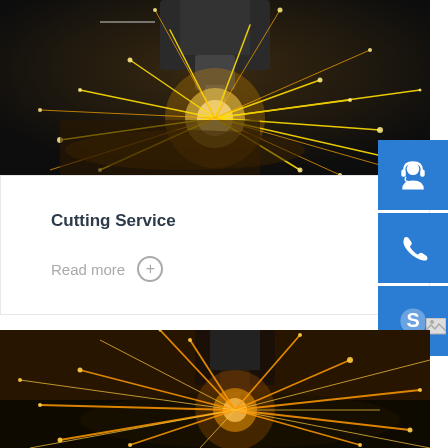[Figure (photo): Laser cutting machine sparking with bright orange/white sparks against dark background, top-down industrial CNC laser cutter in operation]
Cutting Service
Read more
[Figure (infographic): Three blue square buttons on right side: customer support/headset icon, phone icon, Skype icon]
[Figure (photo): Laser cutting machine with bright orange sparks flying, close-up of cutting head against dark background with warm golden tones]